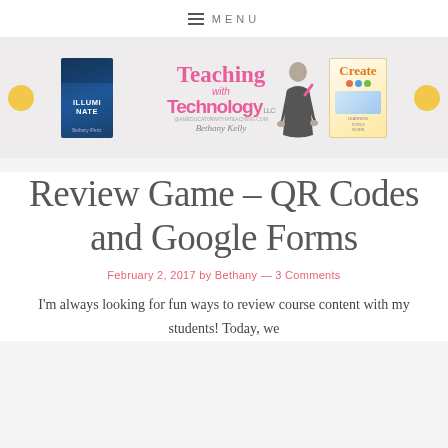≡ MENU
[Figure (illustration): Blog header banner with three book/product images: 'Illuminate' book on left, 'Teaching with Technology LLC' logo with cartoon teacher figure in center, 'Create' book on right. Two gold decorative circles on outer edges.]
Review Game – QR Codes and Google Forms
February 2, 2017 by Bethany — 3 Comments
I'm always looking for fun ways to review course content with my students! Today, we